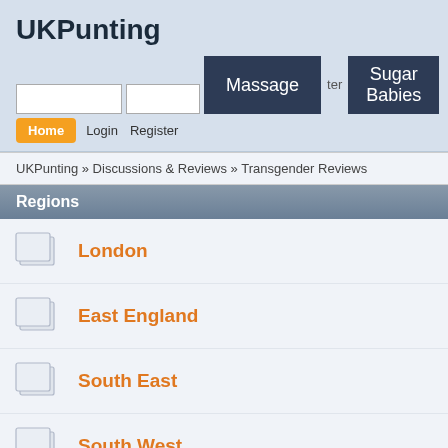UKPunting
[Figure (screenshot): Navigation bar with search inputs, Massage button, ter label, Sugar Babies button]
Home  Login  Register
UKPunting » Discussions & Reviews » Transgender Reviews
Regions
London
East England
South East
South West